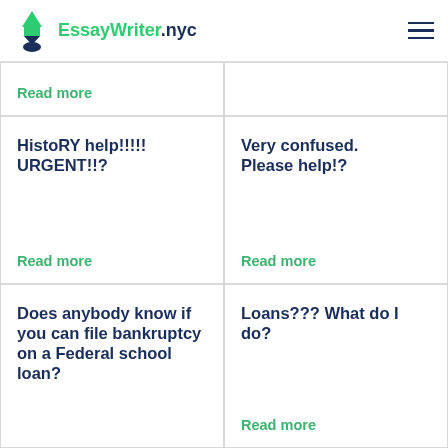EssayWriter.nyc
Read more
HistoRY help!!!!! URGENT!!?
Read more
Very confused. Please help!?
Read more
Does anybody know if you can file bankruptcy on a Federal school loan?
Loans??? What do I do?
Read more